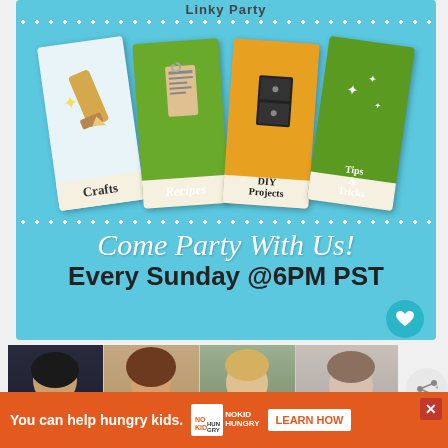[Figure (infographic): Linky Party promotional banner with light blue background showing four polaroid-style cards labeled Crafts, Recipes, DIY Projects, and Tips & Tricks. Dotted borders top and bottom. Text reads 'Come Party With Us!' and 'Every Sunday @6PM PST']
[Figure (photo): Row of four headshot photos of women hosts/bloggers]
[Figure (infographic): Advertisement banner: 'You can help hungry kids.' with No Kid Hungry logo and LEARN HOW button on orange background]